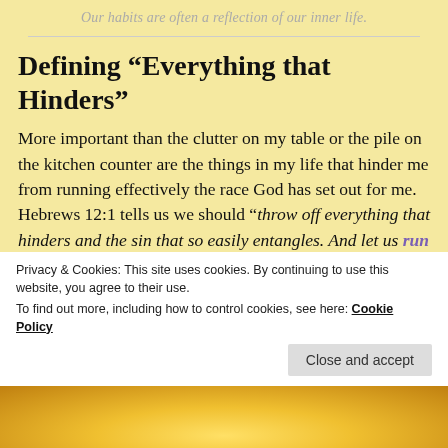Our habits are often a reflection of our inner life.
Defining “Everything that Hinders”
More important than the clutter on my table or the pile on the kitchen counter are the things in my life that hinder me from running effectively the race God has set out for me.  Hebrews 12:1 tells us we should “throw off everything that hinders and the sin that so easily entangles. And let us run with perseverance the race marked out for us, fixing our
Privacy & Cookies: This site uses cookies. By continuing to use this website, you agree to their use. To find out more, including how to control cookies, see here: Cookie Policy
[Figure (photo): Bottom strip showing a colorful outdoor photo, partially visible]